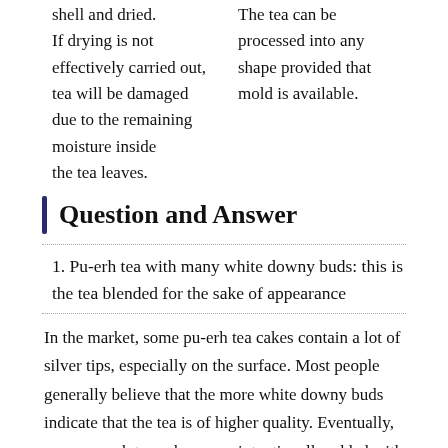shell and dried.
If drying is not effectively carried out, tea will be damaged due to the remaining moisture inside the tea leaves.
The tea can be processed into any shape provided that mold is available.
Question and Answer
1. Pu-erh tea with many white downy buds: this is the tea blended for the sake of appearance
In the market, some pu-erh tea cakes contain a lot of silver tips, especially on the surface. Most people generally believe that the more white downy buds indicate that the tea is of higher quality. Eventually, many pu-erh tea cakes were intentionally added with white tea for “cosmetic” purpose. One of the factories I visited in Wu Liang Shan area is specialized in producing silver needle for blending purpose. Silver needle is made of tea buds that are covered with the white silver downy. Usually, these silver needles are blending with pu-erh tea